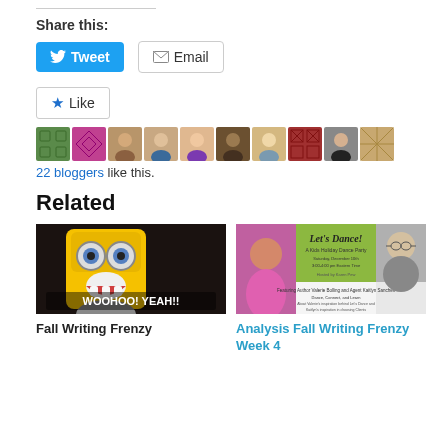Share this:
Tweet  Email
[Figure (other): Like button with star icon, followed by a row of blogger avatar thumbnails]
22 bloggers like this.
Related
[Figure (photo): Minion character with mouth open wide, text overlay WOOHOO! YEAH!!]
Fall Writing Frenzy
[Figure (other): Let's Dance! A Kids Holiday Dance Party event flyer with author and agent photos]
Analysis Fall Writing Frenzy Week 4